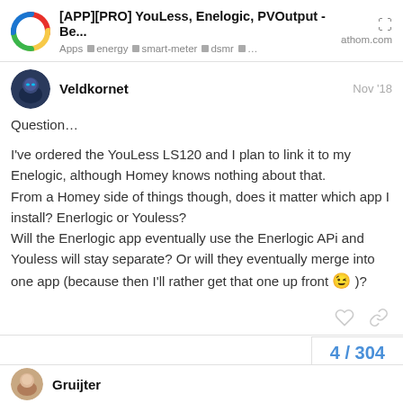[APP][PRO] YouLess, Enelogic, PVOutput - Be... | Apps | energy | smart-meter | dsmr | ... | athom.com
Veldkornet
Nov '18
Question…

I've ordered the YouLess LS120 and I plan to link it to my Enelogic, although Homey knows nothing about that.
From a Homey side of things though, does it matter which app I install? Enerlogic or Youless?
Will the Enerlogic app eventually use the Enerlogic APi and Youless will stay separate? Or will they eventually merge into one app (because then I'll rather get that one up front 😉)?
4 / 304
Gruijter